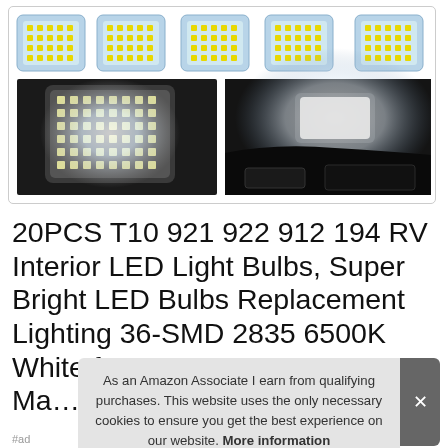[Figure (photo): Product image showing LED light modules in a grid at top, with two photos below: left shows a bright LED panel close-up, right shows car interior ceiling light installed]
20PCS T10 921 922 912 194 RV Interior LED Light Bulbs, Super Bright LED Bulbs Replacement Lighting 36-SMD 2835 6500K White for 12V RV Camper Tra... Ma...
As an Amazon Associate I earn from qualifying purchases. This website uses the only necessary cookies to ensure you get the best experience on our website. More information